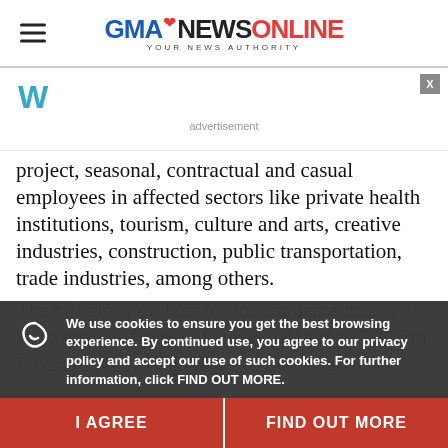GMA NEWS ONLINE YOUR NEWS AUTHORITY
[Figure (logo): Weather widget icon (blue W logo)]
advertisement
project, seasonal, contractual and casual employees in affected sectors like private health institutions, tourism, culture and arts, creative industries, construction, public transportation, trade industries, among others.
The bill also provides for the implementation of an expanded Trabaho Para sa Ating mga Pilipino Program (4Ps), responsive to the needs F...
We use cookies to ensure you get the best browsing experience. By continued use, you agree to our privacy policy and accept our use of such cookies. For further information, click FIND OUT MORE.
I AGREE
FIND OUT MORE